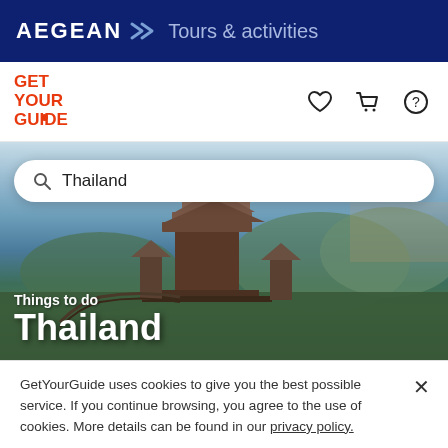AEGEAN Tours & activities
[Figure (logo): GetYourGuide logo with navigation icons (heart, cart, help)]
[Figure (photo): Hero image of Thailand temple/pagoda on mountain with blue sky, search bar overlaid with 'Thailand' query, text overlay reading 'Things to do Thailand']
GetYourGuide uses cookies to give you the best possible service. If you continue browsing, you agree to the use of cookies. More details can be found in our privacy policy.